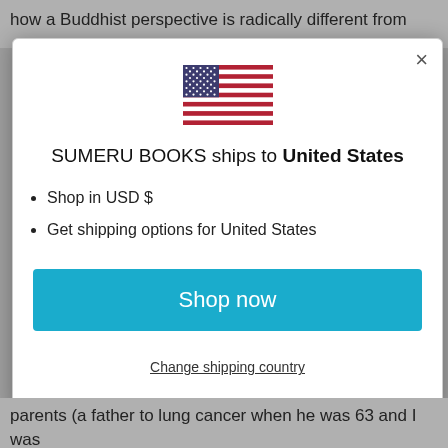how a Buddhist perspective is radically different from
[Figure (illustration): US flag SVG illustration inside a modal popup dialog]
SUMERU BOOKS ships to United States
Shop in USD $
Get shipping options for United States
Shop now
Change shipping country
parents (a father to lung cancer when he was 63 and I was